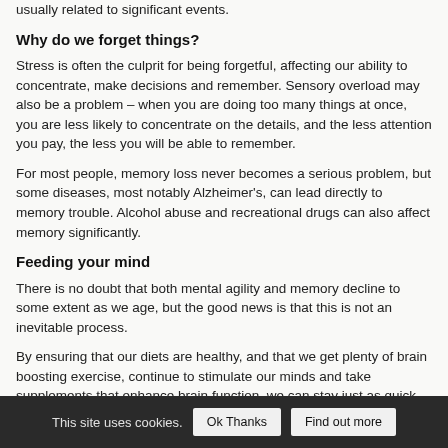usually related to significant events.
Why do we forget things?
Stress is often the culprit for being forgetful, affecting our ability to concentrate, make decisions and remember. Sensory overload may also be a problem – when you are doing too many things at once, you are less likely to concentrate on the details, and the less attention you pay, the less you will be able to remember.
For most people, memory loss never becomes a serious problem, but some diseases, most notably Alzheimer's, can lead directly to memory trouble. Alcohol abuse and recreational drugs can also affect memory significantly.
Feeding your mind
There is no doubt that both mental agility and memory decline to some extent as we age, but the good news is that this is not an inevitable process.
By ensuring that our diets are healthy, and that we get plenty of brain boosting exercise, continue to stimulate our minds and take supplements that enhance brain function, we can stay just as quick
This site uses cookies. Ok Thanks Find out more